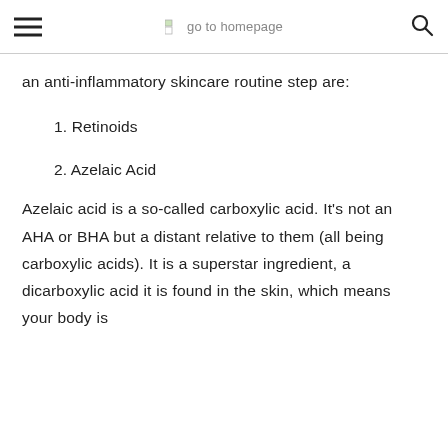go to homepage
an anti-inflammatory skincare routine step are:
1. Retinoids
2. Azelaic Acid
Azelaic acid is a so-called carboxylic acid. It's not an AHA or BHA but a distant relative to them (all being carboxylic acids). It is a superstar ingredient, a dicarboxylic acid it is found in the skin, which means your body is